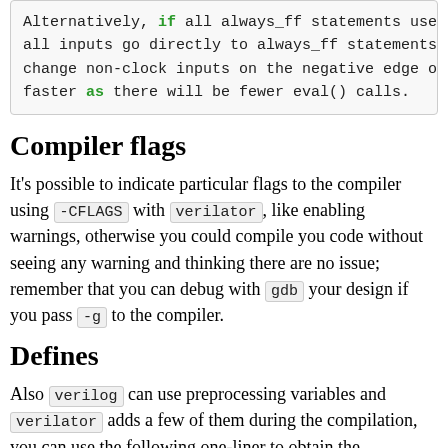Alternatively, if all always_ff statements use only all inputs go directly to always_ff statements, as change non-clock inputs on the negative edge of the faster as there will be fewer eval() calls.
Compiler flags
It's possible to indicate particular flags to the compiler using -CFLAGS with verilator, like enabling warnings, otherwise you could compile you code without seeing any warning and thinking there are no issue; remember that you can debug with gdb your design if you pass -g to the compiler.
Defines
Also verilog can use preprocessing variables and verilator adds a few of them during the compilation, you can use the following one-liner to obtain the predefined ones